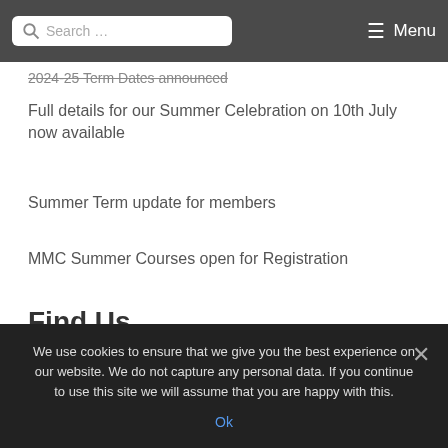Search ... Menu
2024-25 Term Dates announced
Full details for our Summer Celebration on 10th July now available
Summer Term update for members
MMC Summer Courses open for Registration
Find Us
Address c/o The Fallibroome Academy, Priory Lane
We use cookies to ensure that we give you the best experience on our website. We do not capture any personal data. If you continue to use this site we will assume that you are happy with this.
Ok